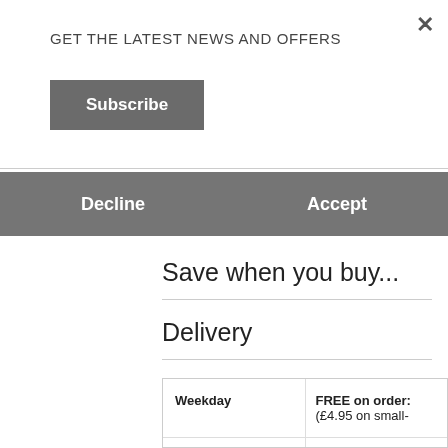GET THE LATEST NEWS AND OFFERS
Subscribe
Decline
Accept
Save when you buy...
Delivery
|  |  |
| --- | --- |
| Weekday | FREE on order: (£4.95 on small- |
|  | FREE on order |